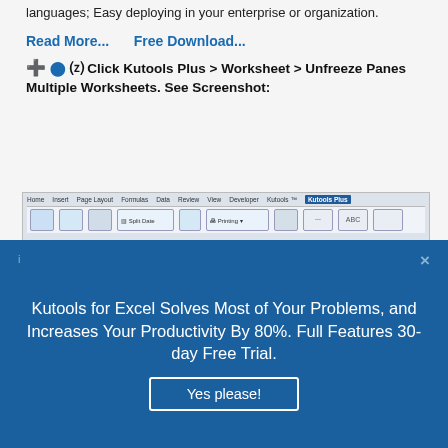languages; Easy deploying in your enterprise or organization.
Read More...     Free Download...
Click Kutools Plus > Worksheet > Unfreeze Panes Multiple Worksheets. See Screenshot:
[Figure (screenshot): Excel ribbon screenshot showing Kutools Plus tab selected with various toolbar icons including Split Date, Printing, and other tools]
Kutools for Excel Solves Most of Your Problems, and Increases Your Productivity By 80%. Full Features 30-day Free Trial.
Yes please!